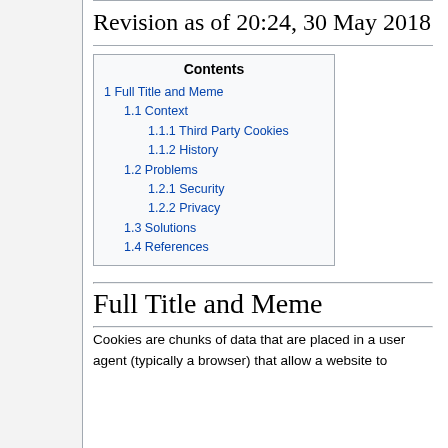Revision as of 20:24, 30 May 2018
| Contents |
| --- |
| 1  Full Title and Meme |
| 1.1  Context |
| 1.1.1  Third Party Cookies |
| 1.1.2  History |
| 1.2  Problems |
| 1.2.1  Security |
| 1.2.2  Privacy |
| 1.3  Solutions |
| 1.4  References |
Full Title and Meme
Cookies are chunks of data that are placed in a user agent (typically a browser) that allow a website to...